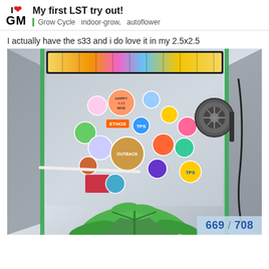I ❤ GM | My first LST try out! | Grow Cycle  indoor-grow,  autoflower
I actually have the s33 and i do love it in my 2.5x2.5
[Figure (photo): Indoor grow tent interior showing LED grow light panel at top, a fan on the right wall, numerous colorful stickers covering the back wall, PVC pipe for LST training, and cannabis plants visible at the bottom.]
669 / 708